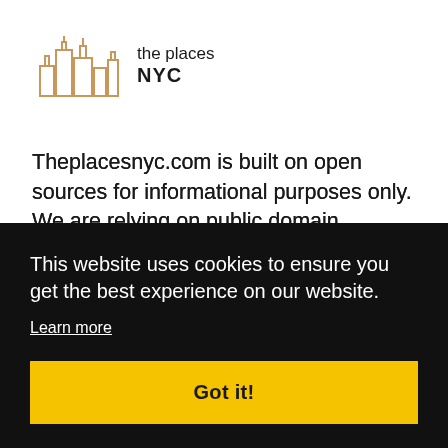[Figure (logo): The Places NYC logo — stylized NYC skyline icon in tan/gold outline next to text 'the places NYC']
Theplacesnyc.com is built on open sources for informational purposes only. We are relying on public domain information and follow the Privacy Policy regulations. We are not responsible for the accuracy of the information provided by the listed companies or their services. If the rights of your company have been ... please ... ery.
This website uses cookies to ensure you get the best experience on our website.
Learn more
Got it!